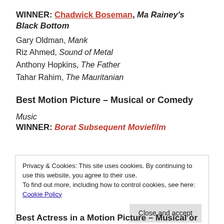WINNER: Chadwick Boseman, Ma Rainey's Black Bottom
Gary Oldman, Mank
Riz Ahmed, Sound of Metal
Anthony Hopkins, The Father
Tahar Rahim, The Mauritanian
Best Motion Picture – Musical or Comedy
Music
WINNER: Borat Subsequent Moviefilm
Privacy & Cookies: This site uses cookies. By continuing to use this website, you agree to their use.
To find out more, including how to control cookies, see here: Cookie Policy
Best Actress in a Motion Picture – Musical or